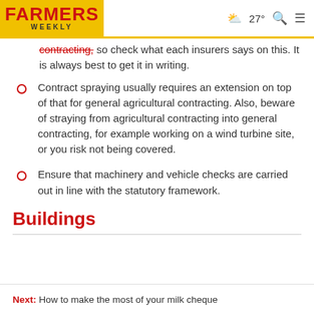Farmers Weekly | 27° weather
contracting, so check what each insurers says on this. It is always best to get it in writing.
Contract spraying usually requires an extension on top of that for general agricultural contracting. Also, beware of straying from agricultural contracting into general contracting, for example working on a wind turbine site, or you risk not being covered.
Ensure that machinery and vehicle checks are carried out in line with the statutory framework.
Buildings
Next: How to make the most of your milk cheque